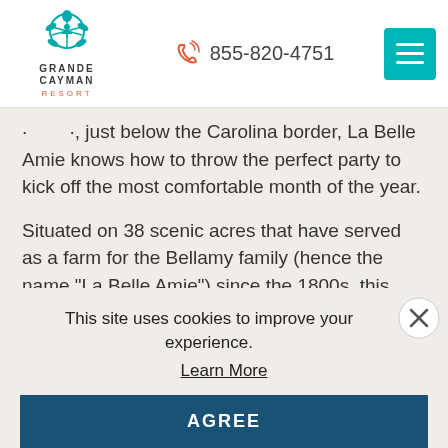Grande Cayman Resort | 855-820-4751
., just below the Carolina border, La Belle Amie knows how to throw the perfect party to kick off the most comfortable month of the year.
Situated on 38 scenic acres that have served as a farm for the Bellamy family (hence the name “La Belle Amie”) since the 1800s, this winery serves up a variety of activities beyond wine-making and wine-tastings. La Belle Amie throws a series of celebrations throughout the year, giving locals and visitors alike the chance to enjoy live music, good food and excellent wine in the great outdoors. Although a winery is not normally considered a kid-friendly attraction, La
This site uses cookies to improve your experience.
Learn More
AGREE